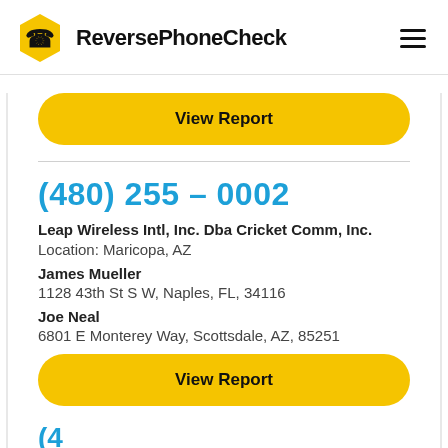ReversePhoneCheck
View Report
(480) 255 – 0002
Leap Wireless Intl, Inc. Dba Cricket Comm, Inc.
Location: Maricopa, AZ
James Mueller
1128 43th St S W, Naples, FL, 34116
Joe Neal
6801 E Monterey Way, Scottsdale, AZ, 85251
View Report